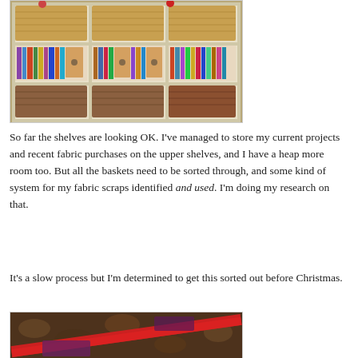[Figure (photo): A white shelving unit with wicker baskets on the top row, books and storage boxes in the middle row, and wicker/woven baskets on the bottom row. Small decorative figurines sit on top of the unit.]
So far the shelves are looking OK. I've managed to store my current projects and recent fabric purchases on the upper shelves, and I have a heap more room too. But all the baskets need to be sorted through, and some kind of system for my fabric scraps identified and used. I'm doing my research on that.
It's a slow process but I'm determined to get this sorted out before Christmas.
[Figure (photo): A close-up photo of colorful fabric scraps including a red ribbon or strip of fabric on a patterned background.]